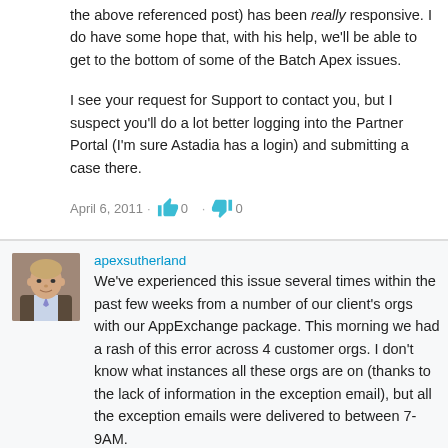the above referenced post) has been really responsive. I do have some hope that, with his help, we'll be able to get to the bottom of some of the Batch Apex issues.
I see your request for Support to contact you, but I suspect you'll do a lot better logging into the Partner Portal (I'm sure Astadia has a login) and submitting a case there.
April 6, 2011 · 👍 0 · 👎 0
apexsutherland
We've experienced this issue several times within the past few weeks from a number of our client's orgs with our AppExchange package. This morning we had a rash of this error across 4 customer orgs. I don't know what instances all these orgs are on (thanks to the lack of information in the exception email), but all the exception emails were delivered to between 7-9AM.
Any word on a root cause or resolution?